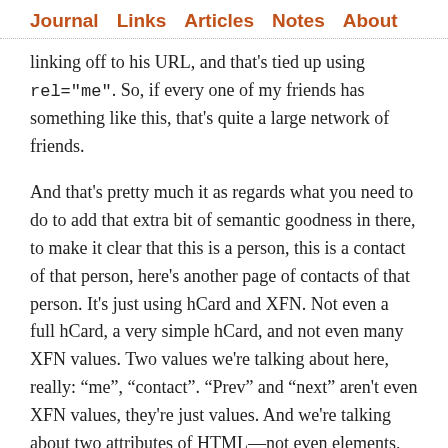Journal   Links   Articles   Notes   About
linking off to his URL, and that's tied up using rel="me". So, if every one of my friends has something like this, that's quite a large network of friends.
And that's pretty much it as regards what you need to do to add that extra bit of semantic goodness in there, to make it clear that this is a person, this is a contact of that person, here's another page of contacts of that person. It's just using hCard and XFN. Not even a full hCard, a very simple hCard, and not even many XFN values. Two values we're talking about here, really: “me”, “contact”. “Prev” and “next” aren't even XFN values, they're just values. And we're talking about two attributes of HTML—not even elements, attributes. Not new, custom attributes that we've invented; these are attributes that have been in HTML for quite a while.
It isn't a replacement for an API. I'm not saying you don't